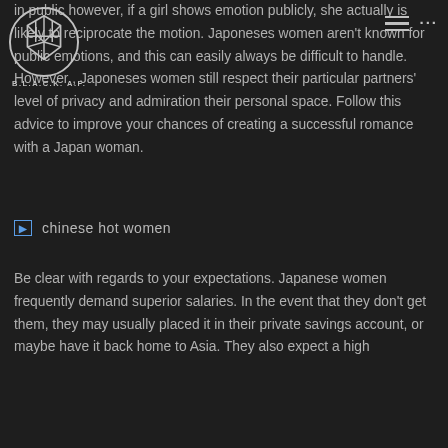in public however, if a girl shows emotion publicly, she actually is likely to reciprocate the motion. Japoneses women aren't known for public emotions, and this can easily always be difficult to handle. However , Japoneses women still respect their particular partners' level of privacy and admiration their personal space. Follow this advice to improve your chances of creating a successful romance with a Japan woman.
[Figure (logo): Black and white circular logo with geometric pattern, labeled B.L.A.C.K. A.F.]
[Figure (photo): Broken image placeholder with text 'chinese hot women']
chinese hot women
Be clear with regards to your expectations. Japanese women frequently demand superior salaries. In the event that they don't get them, they may usually placed it in their private savings account, or maybe have it back home to Asia. They also expect a high